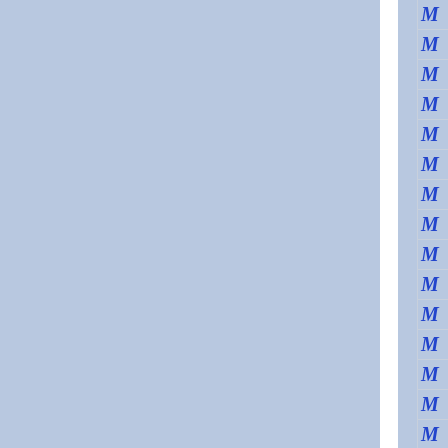[Figure (other): Page showing three vertical panels. Left panel is a large light blue rectangle. A white vertical divider separates the left from a middle blue panel. On the right edge, a narrow column shows rows of italic bold blue letter M, each row separated by horizontal lines on a light blue background.]